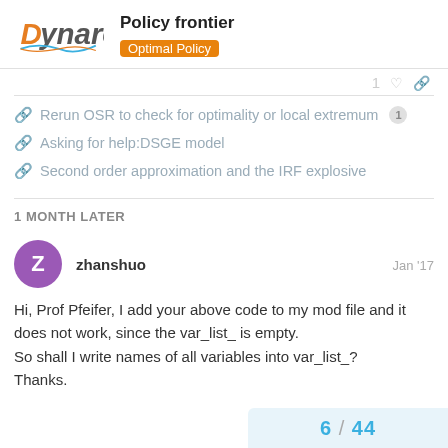Policy frontier — Optimal Policy
Rerun OSR to check for optimality or local extremum
Asking for help:DSGE model
Second order approximation and the IRF explosive
1 MONTH LATER
zhanshuo  Jan '17
Hi, Prof Pfeifer, I add your above code to my mod file and it does not work, since the var_list_ is empty.
So shall I write names of all variables into var_list_?
Thanks.
6 / 44